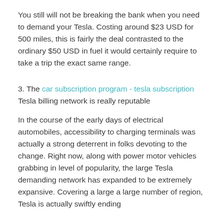You still will not be breaking the bank when you need to demand your Tesla. Costing around $23 USD for 500 miles, this is fairly the deal contrasted to the ordinary $50 USD in fuel it would certainly require to take a trip the exact same range.
3. The car subscription program - tesla subscription Tesla billing network is really reputable
In the course of the early days of electrical automobiles, accessibility to charging terminals was actually a strong deterrent in folks devoting to the change. Right now, along with power motor vehicles grabbing in level of popularity, the large Tesla demanding network has expanded to be extremely expansive. Covering a large a large number of region, Tesla is actually swiftly ending